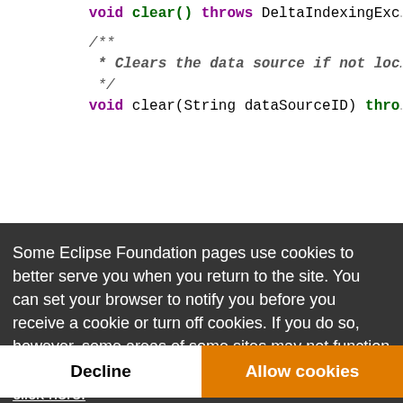[Figure (screenshot): Java API documentation code snippet showing interface methods with Javadoc comments, partially obscured by a cookie consent overlay. Methods shown include void clear(), void clear(String dataSourceID), void unlockDataSources(), boolean checkForUpdate(id id, String...), and interface DeltaIndexingSession. The lower portion has a dark background.]
Some Eclipse Foundation pages use cookies to better serve you when you return to the site. You can set your browser to notify you before you receive a cookie or turn off cookies. If you do so, however, some areas of some sites may not function properly. To read Eclipse Foundation Privacy Policy click here.